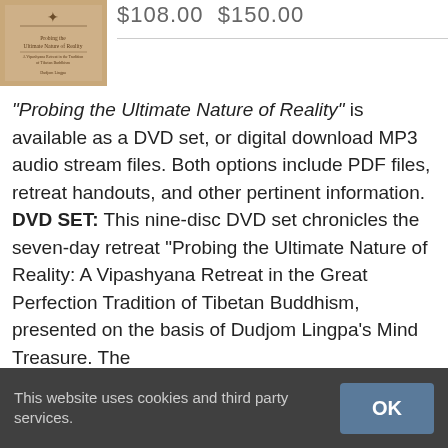[Figure (photo): Book cover for 'Probing the Ultimate Nature of Reality', tan/beige colored with decorative symbol at top]
$108.00  $150.00
"Probing the Ultimate Nature of Reality" is available as a DVD set, or digital download MP3 audio stream files. Both options include PDF files, retreat handouts, and other pertinent information. DVD SET: This nine-disc DVD set chronicles the seven-day retreat “Probing the Ultimate Nature of Reality: A Vipashyana Retreat in the Great Perfection Tradition of Tibetan Buddhism, presented on the basis of Dudjom Lingpa’s Mind Treasure. The
This website uses cookies and third party services.